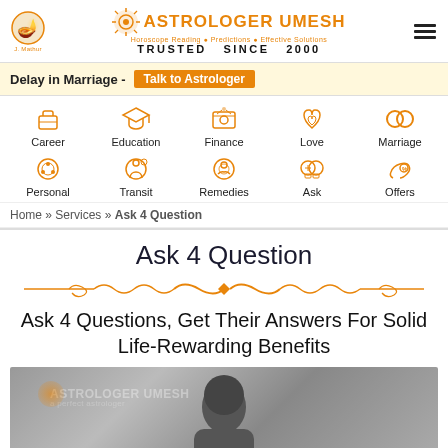ASTROLOGER UMESH — Horoscope Reading • Predictions • Effective Solutions — TRUSTED SINCE 2000
Delay in Marriage - Talk to Astrologer
[Figure (infographic): Navigation icons row 1: Career, Education, Finance, Love, Marriage]
[Figure (infographic): Navigation icons row 2: Personal, Transit, Remedies, Ask, Offers]
Home » Services » Ask 4 Question
Ask 4 Question
[Figure (illustration): Decorative orange divider with swirls and diamond center]
Ask 4 Questions, Get Their Answers For Solid Life-Rewarding Benefits
[Figure (photo): Astrologer photo with watermark ASTROLOGER UMESH]